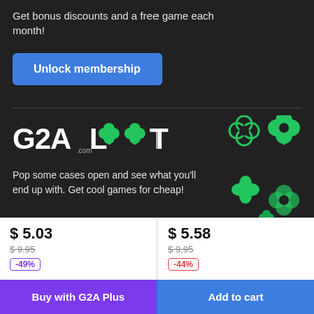Get bonus discounts and a free game each month!
Unlock membership
[Figure (logo): G2A LOOT logo with four-leaf clover icons in green]
Pop some cases open and see what you'll end up with. Get cool games for cheap!
$ 5.03
$9.95
-49%
$ 5.58
$9.95
-44%
Buy with G2A Plus
Add to cart